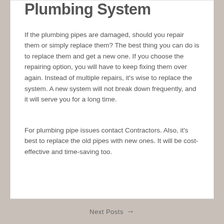Plumbing System
If the plumbing pipes are damaged, should you repair them or simply replace them? The best thing you can do is to replace them and get a new one. If you choose the repairing option, you will have to keep fixing them over again. Instead of multiple repairs, it's wise to replace the system. A new system will not break down frequently, and it will serve you for a long time.
For plumbing pipe issues contact Contractors. Also, it's best to replace the old pipes with new ones. It will be cost-effective and time-saving too.
Next Posts →